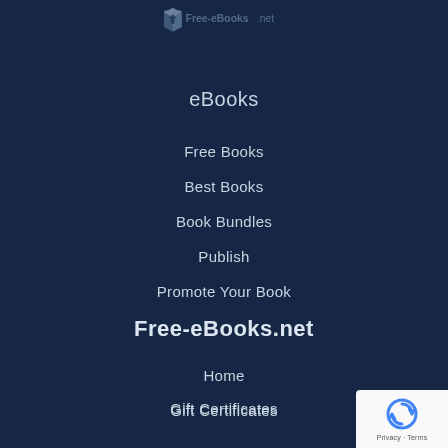[Figure (logo): Free-eBooks.net logo icon (box with arrow) partially visible at top]
eBooks
Free Books
Best Books
Book Bundles
Publish
Promote Your Book
Free-eBooks.net
Home
Gift Certificates
Store
Mobile Apps
eReader Buyer's Guide
[Figure (other): reCAPTCHA badge in bottom right corner showing shield icon and Privacy/Terms text]